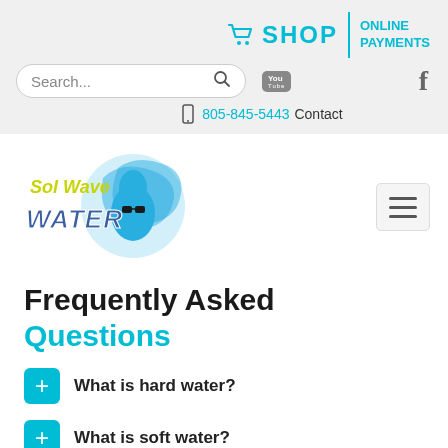SHOP | ONLINE PAYMENTS
[Figure (screenshot): Website header with search bar, YouTube icon, phone number 805-845-5443, Contact link, and Facebook icon]
[Figure (logo): Sol Wave Water logo with cartoon water drop character surfing]
Frequently Asked Questions
What is hard water?
What is soft water?
Do I have hard water?